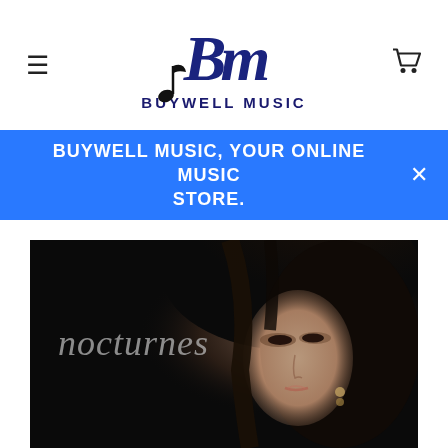[Figure (logo): Buywell Music logo with stylized BM monogram in dark navy italic serif font with a musical note, and 'BUYWELL MUSIC' in bold navy uppercase text below]
BUYWELL MUSIC, YOUR ONLINE MUSIC STORE.
[Figure (photo): Album cover for 'nocturnes' showing a young Asian woman with dark hair against a dark/black background, with the word 'nocturnes' in grey italic text on the left side]